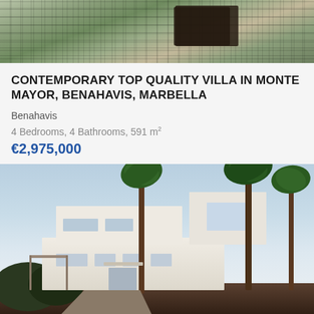[Figure (photo): Aerial or close-up view of a stone-patterned terrace or patio with a dark rectangular object (sun lounger or table) visible, in warm tones]
CONTEMPORARY TOP QUALITY VILLA IN MONTE MAYOR, BENAHAVIS, MARBELLA
Benahavis
4 Bedrooms, 4 Bathrooms, 591 m²
€2,975,000
[Figure (photo): Exterior photograph of a modern white contemporary villa at dusk/evening with palm trees in foreground and a distinctive geometric cubic architectural element on the upper floor, illuminated windows]